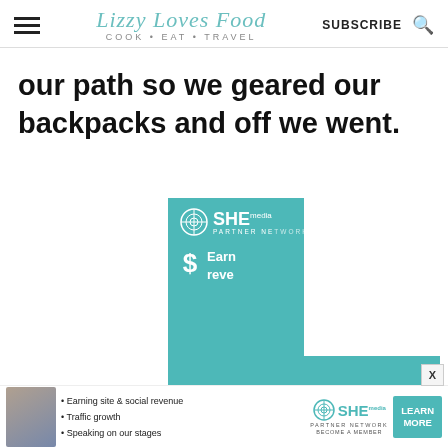Lizzy Loves Food — COOK • EAT • TRAVEL — SUBSCRIBE
our path so we geared our backpacks and off we went.
[Figure (screenshot): SHE Media Partner Network advertisement with teal background showing dollar sign icon and partial text 'Earn... reve...' with overlapping white popup box]
[Figure (screenshot): Bottom banner ad: SHE Partner Network — Earning site & social revenue, Traffic growth, Speaking on our stages — LEARN MORE button]